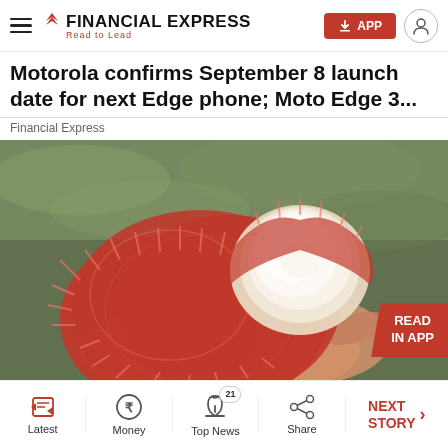Financial Express — Read to Lead
Motorola confirms September 8 launch date for next Edge phone; Moto Edge 3...
Financial Express
[Figure (photo): A person holding open a rambutan fruit, revealing the white flesh inside, with green grass in the background. A 'READ IN APP' badge is overlaid in the bottom right corner.]
Latest | Money | Top News (21) | Share | NEXT STORY